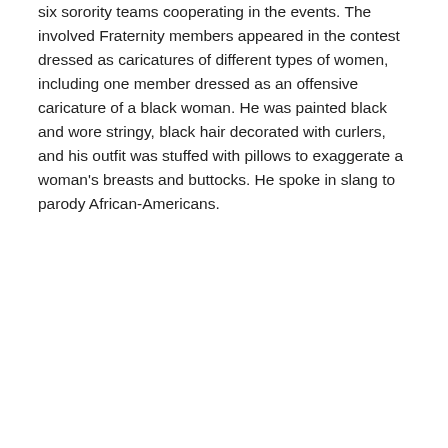six sorority teams cooperating in the events. The involved Fraternity members appeared in the contest dressed as caricatures of different types of women, including one member dressed as an offensive caricature of a black woman. He was painted black and wore stringy, black hair decorated with curlers, and his outfit was stuffed with pillows to exaggerate a woman's breasts and buttocks. He spoke in slang to parody African-Americans.